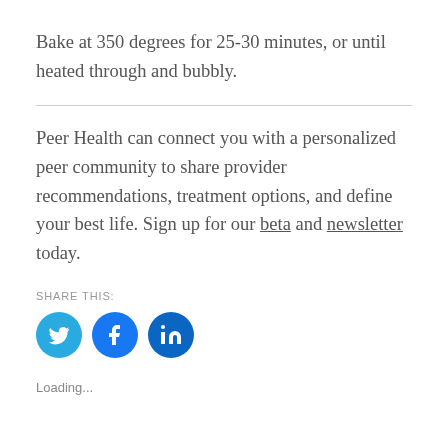Bake at 350 degrees for 25-30 minutes, or until heated through and bubbly.
Peer Health can connect you with a personalized peer community to share provider recommendations, treatment options, and define your best life. Sign up for our beta and newsletter today.
SHARE THIS:
[Figure (infographic): Three social sharing icons: Twitter (light blue circle), Facebook (blue circle), LinkedIn (dark blue circle)]
Loading...